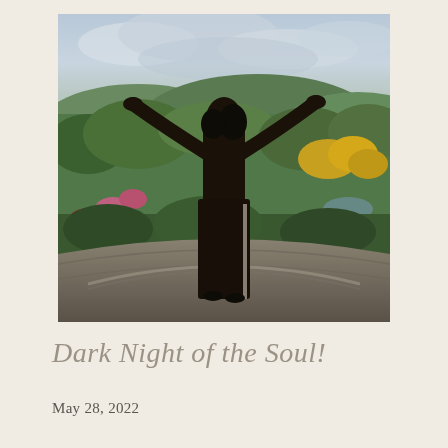[Figure (photo): A person standing with arms outstretched wide, seen from behind, wearing dark patterned pants, standing on a curved stone wall or ledge. The background shows a lush green tropical or subtropical landscape with colorful flowers (pink and yellow), rolling green hills, trees, and an overcast sky. The photo is warm and slightly moody in tone.]
Dark Night of the Soul!
May 28, 2022